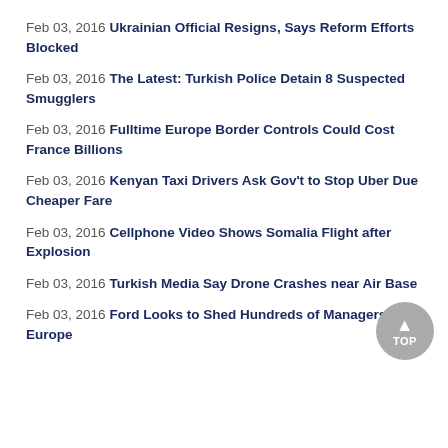Feb 03, 2016 Ukrainian Official Resigns, Says Reform Efforts Blocked
Feb 03, 2016 The Latest: Turkish Police Detain 8 Suspected Smugglers
Feb 03, 2016 Fulltime Europe Border Controls Could Cost France Billions
Feb 03, 2016 Kenyan Taxi Drivers Ask Gov't to Stop Uber Due Cheaper Fare
Feb 03, 2016 Cellphone Video Shows Somalia Flight after Explosion
Feb 03, 2016 Turkish Media Say Drone Crashes near Air Base
Feb 03, 2016 Ford Looks to Shed Hundreds of Managers in Europe